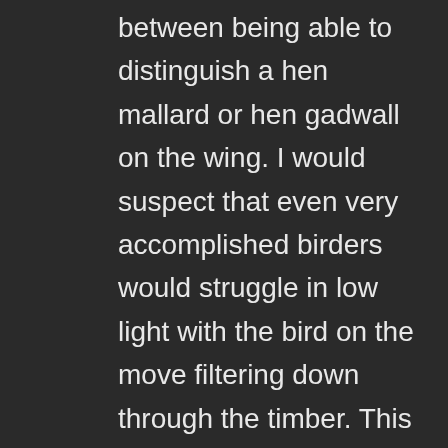between being able to distinguish a hen mallard or hen gadwall on the wing. I would suspect that even very accomplished birders would struggle in low light with the bird on the move filtering down through the timber. This is why the Commonwealth of Kentucky and KYDFWR has mandated that all permit holders in the Sandhill season will have to take and pass an identification test. Hunters are out in front of this issue taking a proactive role in not only funding the habitat that cranes use throughout the year and throughout their life cycles (as I spoke of